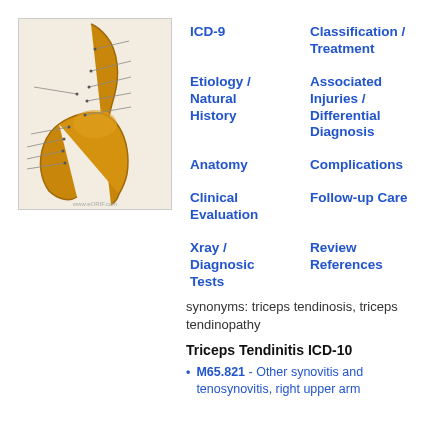[Figure (illustration): 3D rendered image of a human elbow joint (bone anatomy) with annotation lines pointing to various structures, shown in gold/orange color on a light background. Watermark text at bottom: www.eORIF.com]
ICD-9
Classification / Treatment
Etiology / Natural History
Associated Injuries / Differential Diagnosis
Anatomy
Complications
Clinical Evaluation
Follow-up Care
Xray / Diagnostic Tests
Review References
synonyms: triceps tendinosis, triceps tendinopathy
Triceps Tendinitis ICD-10
M65.821 - Other synovitis and tenosynovitis, right upper arm